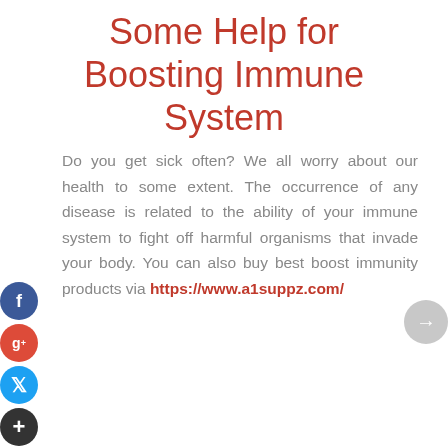Some Help for Boosting Immune System
Do you get sick often? We all worry about our health to some extent. The occurrence of any disease is related to the ability of your immune system to fight off harmful organisms that invade your body. You can also buy best boost immunity products via https://www.a1suppz.com/